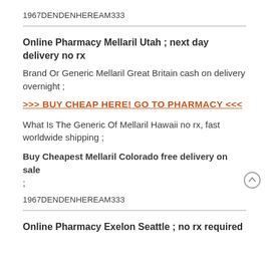1967DENDENHEREAM333
Online Pharmacy Mellaril Utah ; next day delivery no rx
Brand Or Generic Mellaril Great Britain cash on delivery overnight ;
>>> BUY CHEAP HERE! GO TO PHARMACY <<<
What Is The Generic Of Mellaril Hawaii no rx, fast worldwide shipping ;
Buy Cheapest Mellaril Colorado free delivery on sale ;
1967DENDENHEREAM333
Online Pharmacy Exelon Seattle ; no rx required